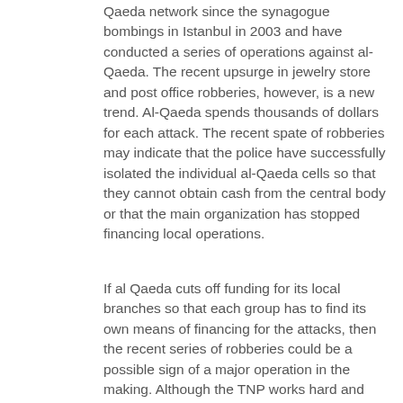Qaeda network since the synagogue bombings in Istanbul in 2003 and have conducted a series of operations against al-Qaeda. The recent upsurge in jewelry store and post office robberies, however, is a new trend. Al-Qaeda spends thousands of dollars for each attack. The recent spate of robberies may indicate that the police have successfully isolated the individual al-Qaeda cells so that they cannot obtain cash from the central body or that the main organization has stopped financing local operations.
If al Qaeda cuts off funding for its local branches so that each group has to find its own means of financing for the attacks, then the recent series of robberies could be a possible sign of a major operation in the making. Although the TNP works hard and prevents most of the attacks in the planning stage, the recent upsurge in anti-Israel sentiment in Turkey may result in al-Qaeda members obtaining more informational assistance about potential Israeli targets from the